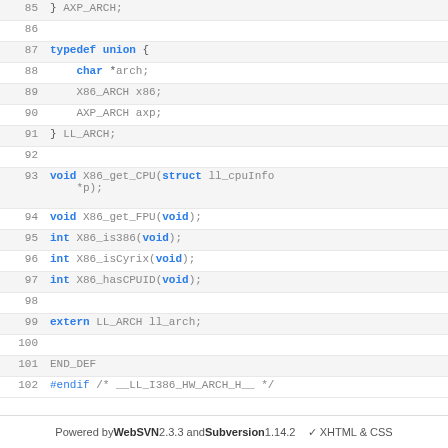[Figure (screenshot): Source code viewer showing C header file lines 85-102 with syntax highlighting. Keywords in blue, identifiers in gray, preprocessor directives in green.]
Powered by WebSVN 2.3.3 and Subversion 1.14.2   ✓ XHTML & CSS